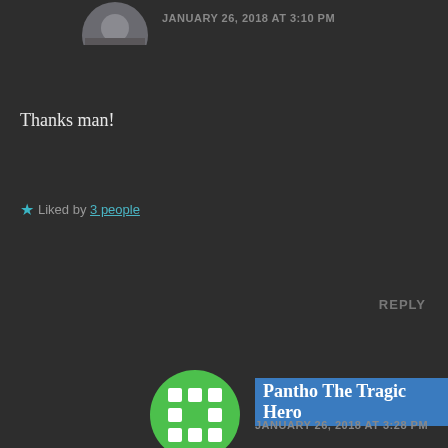[Figure (photo): Partial circular avatar photo of a person, top of page, cropped]
JANUARY 26, 2018 AT 3:10 PM
Thanks man!
★ Liked by 3 people
REPLY
[Figure (illustration): Circular avatar with green background and white square dots pattern]
Pantho The Tragic Hero
JANUARY 26, 2018 AT 3:28 PM
You're welcome man 😉
★ Liked by 2 people